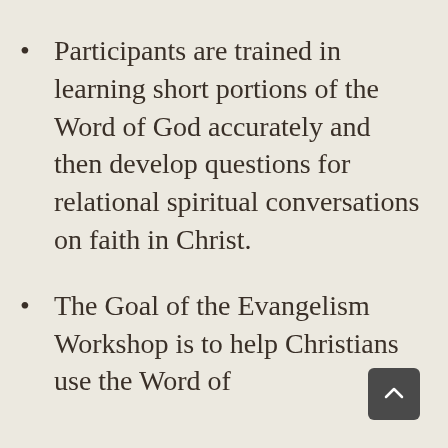Participants are trained in learning short portions of the Word of God accurately and then develop questions for relational spiritual conversations on faith in Christ.
The Goal of the Evangelism Workshop is to help Christians use the Word of